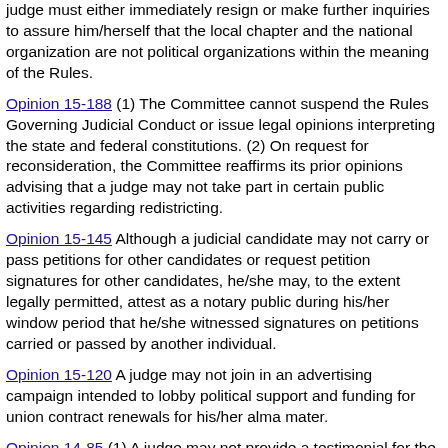judge must either immediately resign or make further inquiries to assure him/herself that the local chapter and the national organization are not political organizations within the meaning of the Rules.
Opinion 15-188 (1) The Committee cannot suspend the Rules Governing Judicial Conduct or issue legal opinions interpreting the state and federal constitutions. (2) On request for reconsideration, the Committee reaffirms its prior opinions advising that a judge may not take part in certain public activities regarding redistricting.
Opinion 15-145 Although a judicial candidate may not carry or pass petitions for other candidates or request petition signatures for other candidates, he/she may, to the extent legally permitted, attest as a notary public during his/her window period that he/she witnessed signatures on petitions carried or passed by another individual.
Opinion 15-120 A judge may not join in an advertising campaign intended to lobby political support and funding for union contract renewals for his/her alma mater.
Opinion 14-85 (1) A judge may not provide a testimonial for the judge's former campaign manager to use in advertisements, but may permit the former campaign manager to provide the